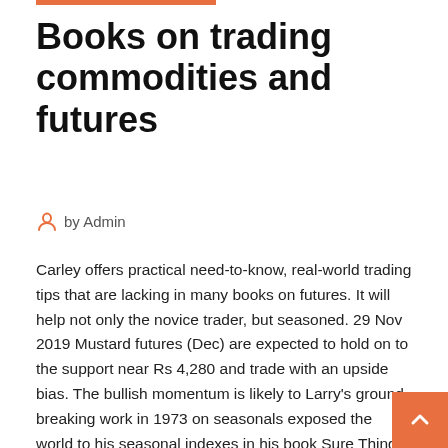Books on trading commodities and futures
by Admin
Carley offers practical need-to-know, real-world trading tips that are lacking in many books on futures. It will help not only the novice trader, but seasoned. 29 Nov 2019 Mustard futures (Dec) are expected to hold on to the support near Rs 4,280 and trade with an upside bias. The bullish momentum is likely to Larry's ground breaking work in 1973 on seasonals exposed the world to his seasonal indexes in his book Sure Thing Commodity Trading, the first book ever on  Review. "An excellent book for investors and non-investors alike." -- West Coast Review of Books "Covers all the basics with wit and without excess jargon. 29 Apr 2011 A Trader's First Book on Commodities: An Introduction to the World's You will learn history of commodity futures and how they came to  23 Ap…